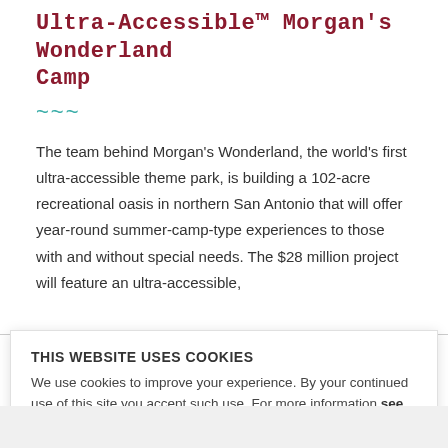Ultra-Accessible™ Morgan's Wonderland Camp
The team behind Morgan's Wonderland, the world's first ultra-accessible theme park, is building a 102-acre recreational oasis in northern San Antonio that will offer year-round summer-camp-type experiences to those with and without special needs. The $28 million project will feature an ultra-accessible,
multi-platform zipline, a horse and horses being trails, a
THIS WEBSITE USES COOKIES
We use cookies to improve your experience. By your continued use of this site you accept such use. For more information see our policy. Do Not Sell My Personal Information